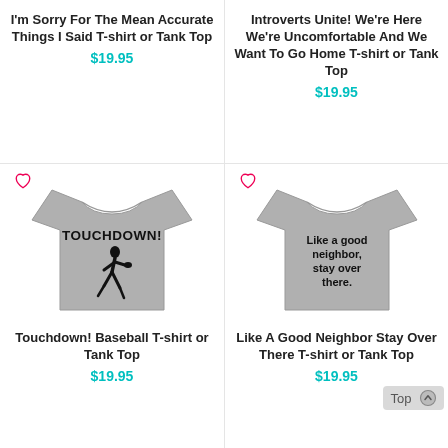I'm Sorry For The Mean Accurate Things I Said T-shirt or Tank Top
$19.95
Introverts Unite! We're Here We're Uncomfortable And We Want To Go Home T-shirt or Tank Top
$19.95
[Figure (photo): Gray t-shirt with TOUCHDOWN! text and baseball player graphic]
Touchdown! Baseball T-shirt or Tank Top
$19.95
[Figure (photo): Gray t-shirt with text: Like a good neighbor, stay over there.]
Like A Good Neighbor Stay Over There T-shirt or Tank Top
$19.95